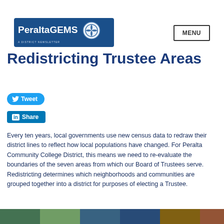PeraltaGEMS A DISTRICT NEWSLETTER
Redistricting Trustee Areas
Tweet
Share
Every ten years, local governments use new census data to redraw their district lines to reflect how local populations have changed. For Peralta Community College District, this means we need to re-evaluate the boundaries of the seven areas from which our Board of Trustees serve. Redistricting determines which neighborhoods and communities are grouped together into a district for purposes of electing a Trustee.
[Figure (photo): Photo strip at bottom of page showing community members]